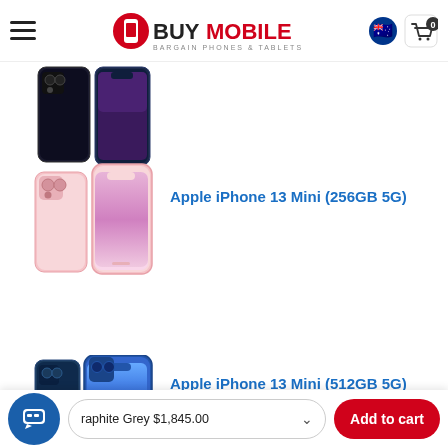BuyMobile – Bargain Phones & Tablets
[Figure (photo): iPhone 13 Mini in dark/midnight color shown from front and back]
[Figure (photo): Apple iPhone 13 Mini in pink color shown from front and back]
Apple iPhone 13 Mini (256GB 5G)
[Figure (photo): Apple iPhone 13 Mini in blue/graphite color shown from front and back]
Apple iPhone 13 Mini (512GB 5G)
Graphite Grey $1,845.00
Add to cart